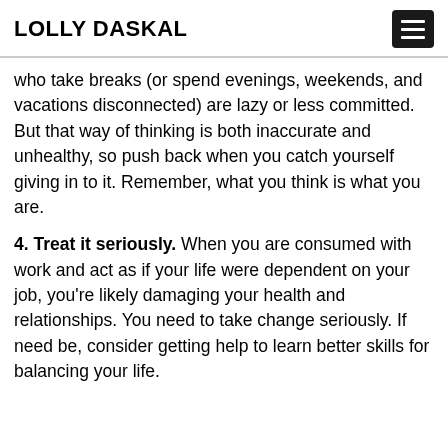LOLLY DASKAL
who take breaks (or spend evenings, weekends, and vacations disconnected) are lazy or less committed. But that way of thinking is both inaccurate and unhealthy, so push back when you catch yourself giving in to it. Remember, what you think is what you are.
4. Treat it seriously. When you are consumed with work and act as if your life were dependent on your job, you’re likely damaging your health and relationships. You need to take change seriously. If need be, consider getting help to learn better skills for balancing your life.